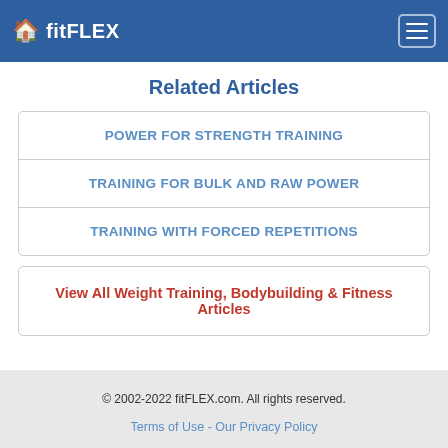fitFLEX
Related Articles
POWER FOR STRENGTH TRAINING
TRAINING FOR BULK AND RAW POWER
TRAINING WITH FORCED REPETITIONS
View All Weight Training, Bodybuilding & Fitness Articles
© 2002-2022 fitFLEX.com. All rights reserved. Terms of Use - Our Privacy Policy